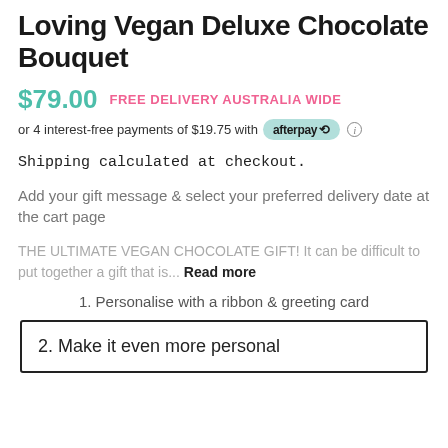Loving Vegan Deluxe Chocolate Bouquet
$79.00  FREE DELIVERY AUSTRALIA WIDE
or 4 interest-free payments of $19.75 with afterpay
Shipping calculated at checkout.
Add your gift message & select your preferred delivery date at the cart page
THE ULTIMATE VEGAN CHOCOLATE GIFT! It can be difficult to put together a gift that is... Read more
1. Personalise with a ribbon & greeting card
2. Make it even more personal